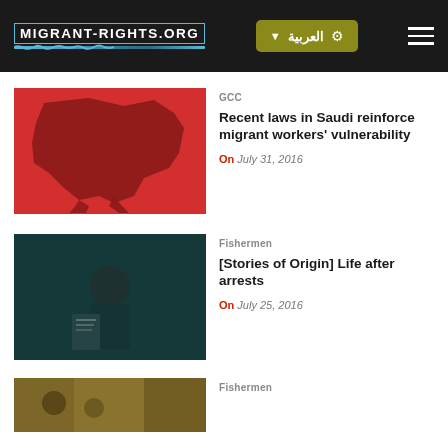MIGRANT-RIGHTS.ORG | العربية
[Figure (photo): Red background with dark red silhouette map of Saudi Arabia]
GCC
Recent laws in Saudi reinforce migrant workers' vulnerability
On July 31, 2016
[Figure (photo): Dark photo of a man holding a document, teal/dark tones]
Fishermen
[Stories of Origin] Life after arrests
On July 25, 2016
[Figure (photo): Partial view of a third article image, yellowish/warm tones]
Fishermen